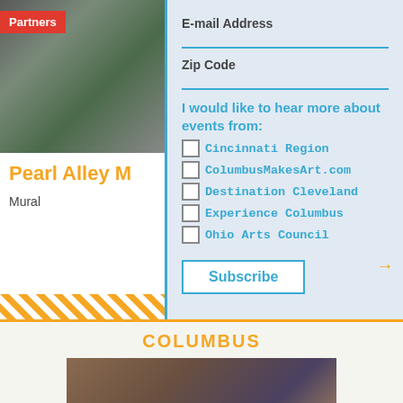[Figure (photo): Urban alley photo with graffiti mural on wall, green pipes visible]
Partners
E-mail Address
Zip Code
I would like to hear more about events from:
Cincinnati Region
ColumbusMakesArt.com
Destination Cleveland
Experience Columbus
Ohio Arts Council
Subscribe
Pearl Alley M
Mural
COLUMBUS
[Figure (photo): Urban building exterior photo, partial view]